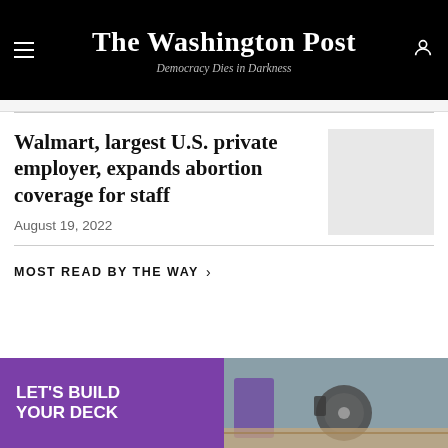The Washington Post — Democracy Dies in Darkness
Walmart, largest U.S. private employer, expands abortion coverage for staff
August 19, 2022
MOST READ BY THE WAY >
[Figure (illustration): Advertisement: LET'S BUILD YOUR DECK with image of person using circular saw]